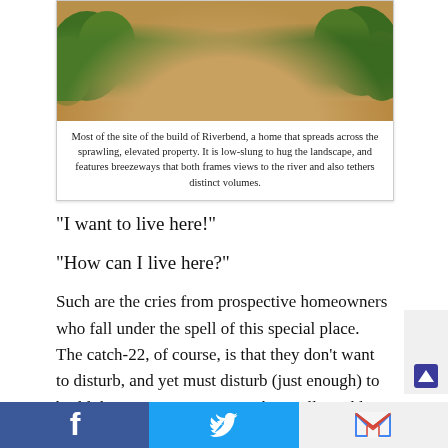[Figure (photo): Aerial or close-up view of a dirt road/pathway through an elevated, landscaped property site with reddish-brown soil and green trees on the sides — the site of Riverbend home build.]
Most of the site of the build of Riverbend, a home that spreads across the sprawling, elevated property. It is low-slung to hug the landscape, and features breezeways that both frames views to the river and also tethers distinct volumes.
“I want to live here!”
“How can I live here?”
Such are the cries from prospective homeowners who fall under the spell of this special place. The catch-22, of course, is that they don’t want to disturb, and yet must disturb (just enough) to build their “Forever Home.” They will quickly discover that in order to move forward with any construction project, they will be subject to the close scrutiny of a number of regulatory agencies committed to ensuring that what they propose falls within strict
f  •  🐦  •  M